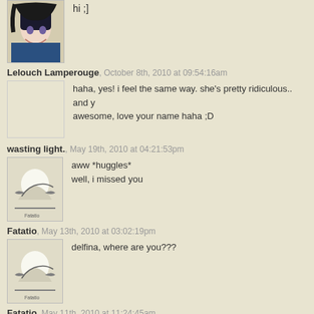[Figure (photo): Anime avatar of dark-haired character with purple eyes, with text 'hi ;]' next to it]
hi ;]
Lelouch Lamperouge, October 8th, 2010 at 09:54:16am
haha, yes! i feel the same way. she's pretty ridiculous.. and y awesome, love your name haha ;D
wasting light., May 19th, 2010 at 04:21:53pm
[Figure (photo): Grayscale avatar with dragonfly/bird silhouette and text 'Fatatio']
aww *huggles*
well, i missed you
Fatatio, May 13th, 2010 at 03:02:19pm
[Figure (photo): Grayscale avatar with dragonfly/bird silhouette and text 'Fatatio']
delfina, where are you???
Fatatio, May 11th, 2010 at 11:24:45am
[Figure (photo): Partial avatar, light colored]
CUTE DELFIE :D